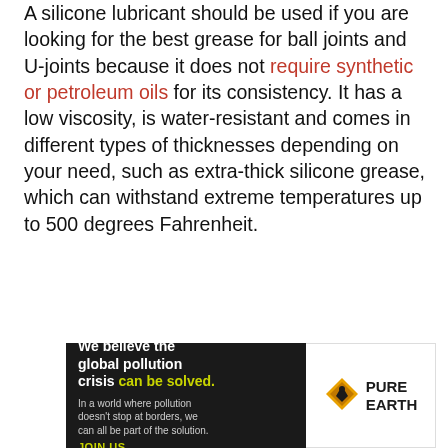A silicone lubricant should be used if you are looking for the best grease for ball joints and U-joints because it does not require synthetic or petroleum oils for its consistency. It has a low viscosity, is water-resistant and comes in different types of thicknesses depending on your need, such as extra-thick silicone grease, which can withstand extreme temperatures up to 500 degrees Fahrenheit.
[Figure (other): Advertisement banner for Pure Earth organization. Left side has dark background with text 'We believe the global pollution crisis can be solved.' in white and yellow-green. Right side shows Pure Earth logo (diamond shape with droplet) and organization name.]